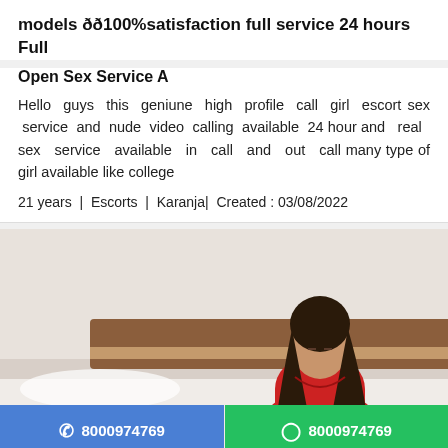models ðð100%satisfaction full service 24 hours Full
Open Sex Service A
Hello guys this geniune high profile call girl escort sex service and nude video calling available 24 hour and real sex service available in call and out call many type of girl available like college
21 years  |  Escorts  |  Karanja |  Created : 03/08/2022
[Figure (photo): Woman in red dress sitting on a bed, with call and WhatsApp buttons at the bottom showing number 8000974769]